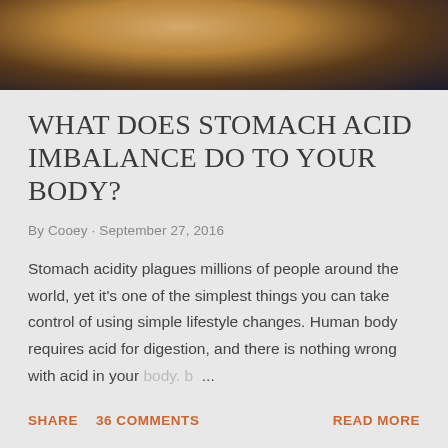[Figure (photo): Top portion of a food/drink photo, appears to show citrus or similar ingredient with liquid, dark background]
WHAT DOES STOMACH ACID IMBALANCE DO TO YOUR BODY?
By Cooey · September 27, 2016
Stomach acidity plagues millions of people around the world, yet it's one of the simplest things you can take control of using simple lifestyle changes. Human body requires acid for digestion, and there is nothing wrong with acid in your body. b ...
SHARE   36 COMMENTS   READ MORE
[Figure (photo): Bottom portion of another article's photo, black and white image]